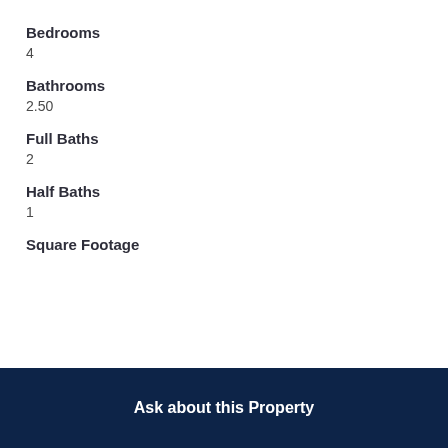Bedrooms
4
Bathrooms
2.50
Full Baths
2
Half Baths
1
Square Footage
Ask about this Property